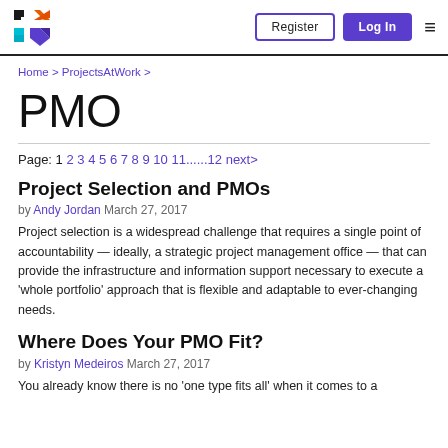PMX Logo | Register | Log In
Home > ProjectsAtWork >
PMO
Page: 1 2 3 4 5 6 7 8 9 10 11......12 next>
Project Selection and PMOs
by Andy Jordan March 27, 2017
Project selection is a widespread challenge that requires a single point of accountability — ideally, a strategic project management office — that can provide the infrastructure and information support necessary to execute a 'whole portfolio' approach that is flexible and adaptable to ever-changing needs.
Where Does Your PMO Fit?
by Kristyn Medeiros March 27, 2017
You already know there is no 'one type fits all' when it comes to a